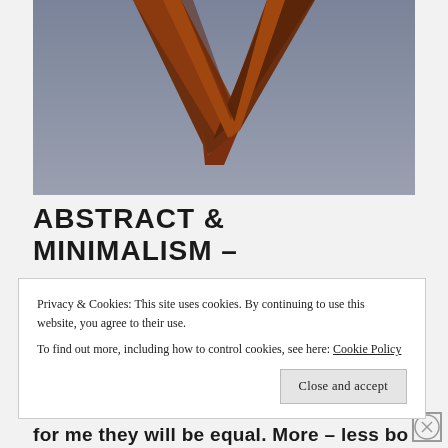[Figure (photo): Photo of a wooden chevron/V-shape frame against a blue-grey gradient sky background]
ABSTRACT & MINIMALISM –
Privacy & Cookies: This site uses cookies. By continuing to use this website, you agree to their use.
To find out more, including how to control cookies, see here: Cookie Policy
for me they will be equal. More – less both I'm using